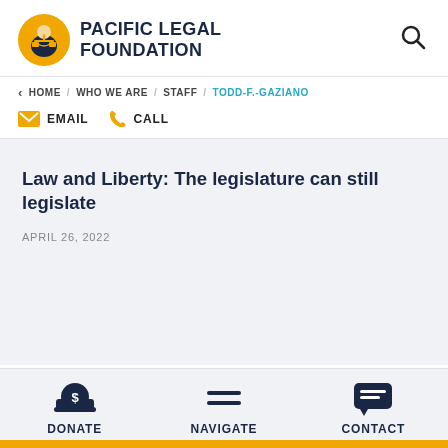Pacific Legal Foundation
< HOME / WHO WE ARE / STAFF / TODD-F.-GAZIANO
EMAIL  CALL
Law and Liberty: The legislature can still legislate
APRIL 26, 2022
DONATE  NAVIGATE  CONTACT